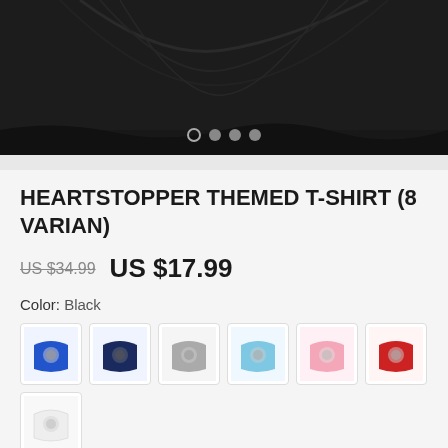[Figure (photo): Black t-shirt product photo showing the bottom portion of a black t-shirt with carousel dots indicating multiple images]
HEARTSTOPPER THEMED T-SHIRT (8 VARIAN)
US $34.99   US $17.99
Color: Black
[Figure (photo): Color variant swatches showing t-shirts in blue, navy, gray, light blue, pink, red, white, and black colors]
English